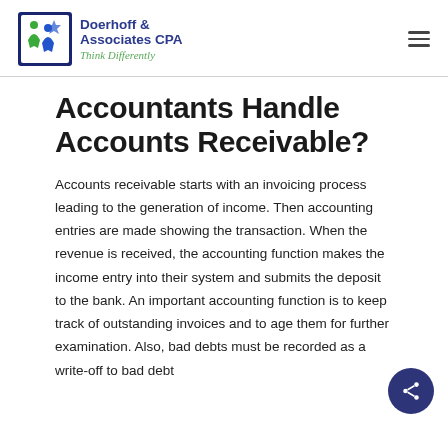Doerhoff & Associates CPA — Think Differently
Accountants Handle Accounts Receivable?
Accounts receivable starts with an invoicing process leading to the generation of income. Then accounting entries are made showing the transaction. When the revenue is received, the accounting function makes the income entry into their system and submits the deposit to the bank. An important accounting function is to keep track of outstanding invoices and to age them for further examination. Also, bad debts must be recorded as a write-off to bad debt